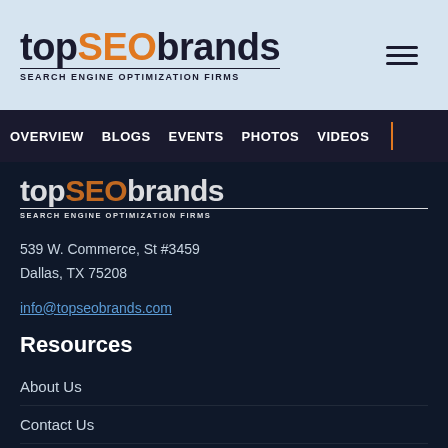[Figure (logo): topSEObrands logo with 'SEARCH ENGINE OPTIMIZATION FIRMS' tagline in header]
OVERVIEW  BLOGS  EVENTS  PHOTOS  VIDEOS
[Figure (logo): topSEObrands logo in dark footer area]
539 W. Commerce, St #3459
Dallas, TX 75208
info@topseobrands.com
Resources
About Us
Contact Us
FAQ's
Evaluation Criteria
Blog